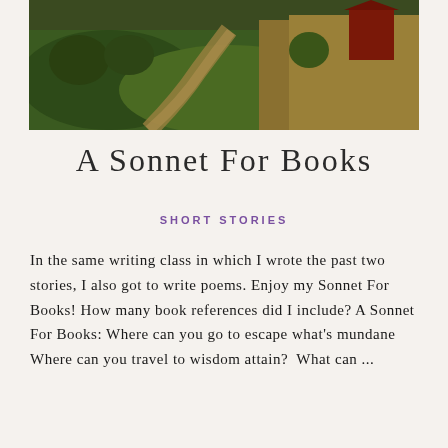[Figure (photo): Countryside landscape photo showing a winding dirt path through green fields with golden/brown haystacks or barn visible in the background]
A Sonnet For Books
SHORT STORIES
In the same writing class in which I wrote the past two stories, I also got to write poems. Enjoy my Sonnet For Books! How many book references did I include? A Sonnet For Books: Where can you go to escape what's mundane Where can you travel to wisdom attain?  What can ...